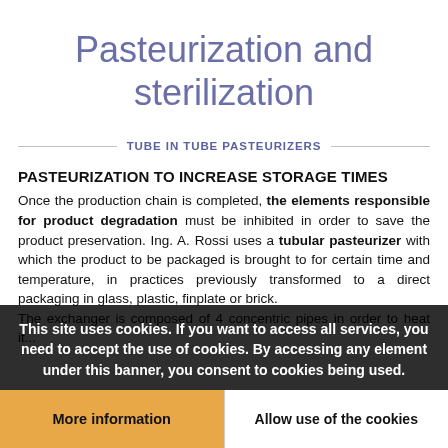Pasteurization and sterilization
TUBE IN TUBE PASTEURIZERS
PASTEURIZATION TO INCREASE STORAGE TIMES
Once the production chain is completed, the elements responsible for product degradation must be inhibited in order to save the product preservation. Ing. A. Rossi uses a tubular pasteurizer with which the product to be packaged is brought to for certain time and temperature, in practices previously transformed to a direct packaging in glass, plastic, finplate or brick.
The exchanger is composed of 4 concentric pipes in order to heat it...
This site uses cookies. If you want to access all services, you need to accept the use of cookies. By accessing any element under this banner, you consent to cookies being used.
More information
Allow use of the cookies